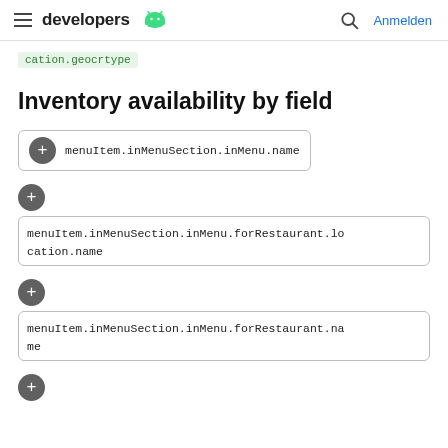developers [Android logo]  [search]  Anmelden
cation.geocrtype
Inventory availability by field
menuItem.inMenuSection.inMenu.name
menuItem.inMenuSection.inMenu.forRestaurant.location.name
menuItem.inMenuSection.inMenu.forRestaurant.name
[+ expand button]